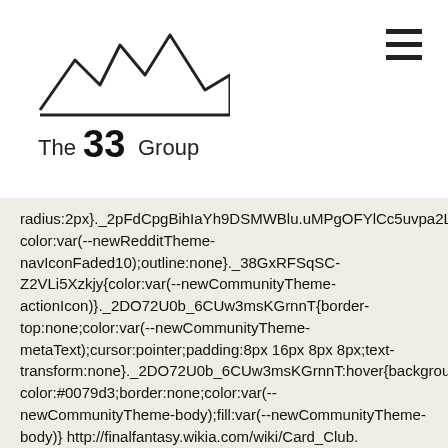[Figure (logo): The 33 Group logo with mountain silhouette above text reading 'The 33 Group']
radius:2px}._2pFdCpgBihIaYh9DSMWBlu.uMPgOFYlCc5uvpa2Lbteu:focus,._2pFdCpgBihIaYh9DSMWBlu.uMPgOFYlCc5uvpa2Lbteu:hover{background-color:var(--newRedditTheme-navIconFaded10);outline:none}._38GxRFSqSC-Z2VLi5Xzkjy{color:var(--newCommunityTheme-actionIcon)}._2DO72U0b_6CUw3msKGrnnT{border-top:none;color:var(--newCommunityTheme-metaText);cursor:pointer;padding:8px 16px 8px 8px;text-transform:none}._2DO72U0b_6CUw3msKGrnnT:hover{background-color:#0079d3;border:none;color:var(--newCommunityTheme-body);fill:var(--newCommunityTheme-body)} http://finalfantasy.wikia.com/wiki/Card_Club. ._1PeZajQI0Wm8P3B45yshR{fill:var(--newCommunityTheme-actionIcon)}._1PeZajQI0Wm8P3B45yshR._3axV0unm-cpsxoKWYwKh2x{fill:#ea0027} As for tips, just try and get a strong deck. I can go outside right now and take care of Diablos and go for Zells with Ma Dincht for the intro on the difficulty isn't a factor. Note: You may find